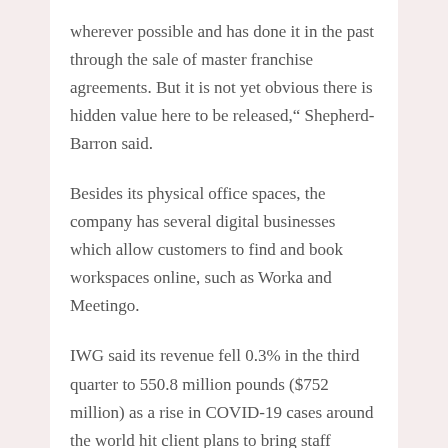wherever possible and has done it in the past through the sale of master franchise agreements. But it is not yet obvious there is hidden value here to be released," Shepherd-Barron said.
Besides its physical office spaces, the company has several digital businesses which allow customers to find and book workspaces online, such as Worka and Meetingo.
IWG said its revenue fell 0.3% in the third quarter to 550.8 million pounds ($752 million) as a rise in COVID-19 cases around the world hit client plans to bring staff working remotely back to offices.